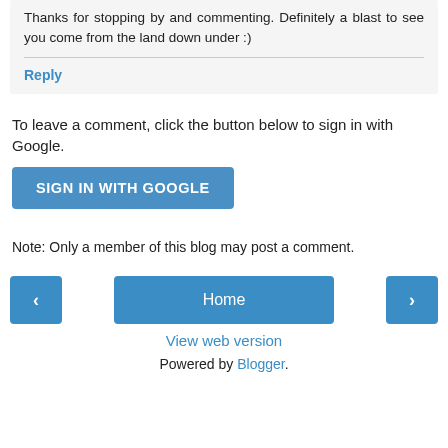Thanks for stopping by and commenting. Definitely a blast to see you come from the land down under :)
Reply
To leave a comment, click the button below to sign in with Google.
[Figure (other): SIGN IN WITH GOOGLE button (blue rounded rectangle)]
Note: Only a member of this blog may post a comment.
[Figure (other): Navigation bar with left arrow button, Home button, and right arrow button]
View web version
Powered by Blogger.